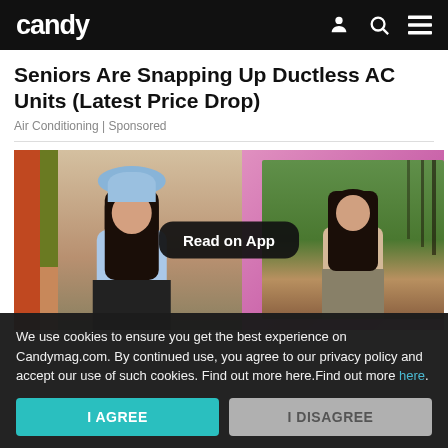candy
Seniors Are Snapping Up Ductless AC Units (Latest Price Drop)
Air Conditioning | Sponsored
[Figure (photo): Two photos side by side: left shows a young woman wearing a blue bucket hat and light blue crop top sitting on a bed; right shows a young woman in a beige top standing outdoors near trees with an iron fence. A pink/lavender gradient background is visible on the right. A 'Read on App' button overlay appears in the center.]
We use cookies to ensure you get the best experience on Candymag.com. By continued use, you agree to our privacy policy and accept our use of such cookies. Find out more here.Find out more here.
I AGREE
I DISAGREE